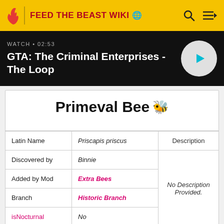FEED THE BEAST WIKI
[Figure (screenshot): GTA: The Criminal Enterprises - The Loop video promo banner with play button]
Primeval Bee
| Latin Name | Priscapis priscus | Description |
| --- | --- | --- |
| Discovered by | Binnie | No Description Provided. |
| Added by Mod | Extra Bees |  |
| Branch | Historic Branch |  |
| isNocturnal | No |  |